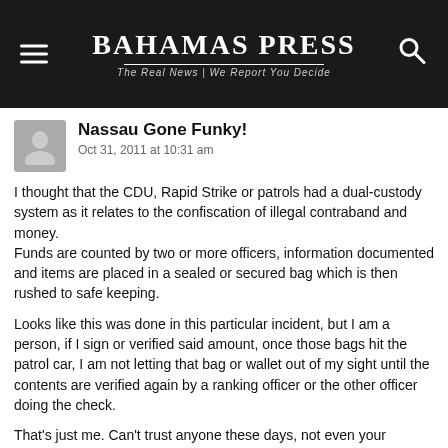Bahamas Press — The Real News | We Report You Decide
Nassau Gone Funky!
Oct 31, 2011 at 10:31 am
I thought that the CDU, Rapid Strike or patrols had a dual-custody system as it relates to the confiscation of illegal contraband and money.
Funds are counted by two or more officers, information documented and items are placed in a sealed or secured bag which is then rushed to safe keeping.
Looks like this was done in this particular incident, but I am a person, if I sign or verified said amount, once those bags hit the patrol car, I am not letting that bag or wallet out of my sight until the contents are verified again by a ranking officer or the other officer doing the check.
That's just me. Can't trust anyone these days, not even your colleagues!